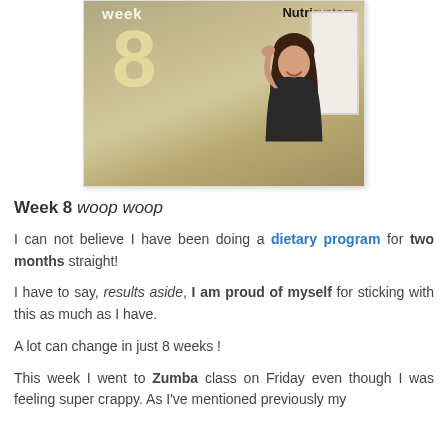[Figure (photo): Video thumbnail showing a woman in a black tank top posing in front of a wall with a large number '8' and text 'Week' and 'Nutrisystem' logo]
Week 8 woop woop
I can not believe I have been doing a dietary program for two months straight!
I have to say, results aside, I am proud of myself for sticking with this as much as I have.
A lot can change in just 8 weeks !
This week I went to Zumba class on Friday even though I was feeling super crappy. As I've mentioned previously my